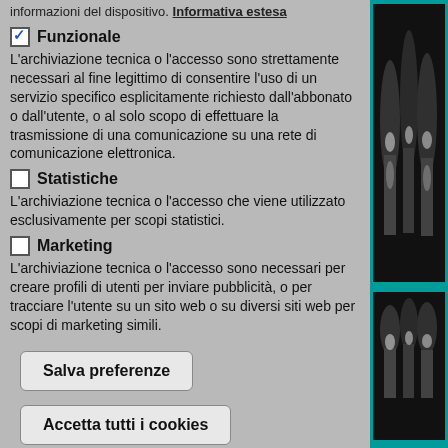informazioni del dispositivo. Informativa estesa
✓ Funzionale
L'archiviazione tecnica o l'accesso sono strettamente necessari al fine legittimo di consentire l'uso di un servizio specifico esplicitamente richiesto dall'abbonato o dall'utente, o al solo scopo di effettuare la trasmissione di una comunicazione su una rete di comunicazione elettronica.
☐ Statistiche
L'archiviazione tecnica o l'accesso che viene utilizzato esclusivamente per scopi statistici.
☐ Marketing
L'archiviazione tecnica o l'accesso sono necessari per creare profili di utenti per inviare pubblicità, o per tracciare l'utente su un sito web o su diversi siti web per scopi di marketing simili.
Salva preferenze
Accetta tutti i cookies
[Figure (photo): Two black and white X-ray images of what appear to be knee joints, displayed side by side in a teal-bordered frame on the right sidebar.]